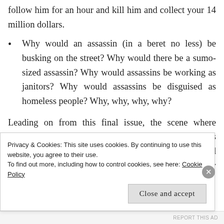follow him for an hour and kill him and collect your 14 million dollars.
Why would an assassin (in a beret no less) be busking on the street? Why would there be a sumo-sized assassin? Why would assassins be working as janitors? Why would assassins be disguised as homeless people? Why, why, why, why?
Leading on from this final issue, the scene where Lovejoy tells everybody to pause like the world’s lamest flash mob, that means there’s more criminals and assassins in this world than innocent civilians at any given time, which makes no sense at all.
Privacy & Cookies: This site uses cookies. By continuing to use this website, you agree to their use.
To find out more, including how to control cookies, see here: Cookie Policy
Close and accept